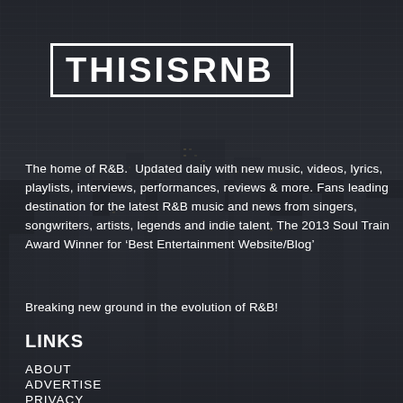THISISRNB
The home of R&B.  Updated daily with new music, videos, lyrics, playlists, interviews, performances, reviews & more. Fans leading destination for the latest R&B music and news from singers, songwriters, artists, legends and indie talent. The 2013 Soul Train Award Winner for ‘Best Entertainment Website/Blog’
Breaking new ground in the evolution of R&B!
LINKS
ABOUT
ADVERTISE
PRIVACY
TERMS